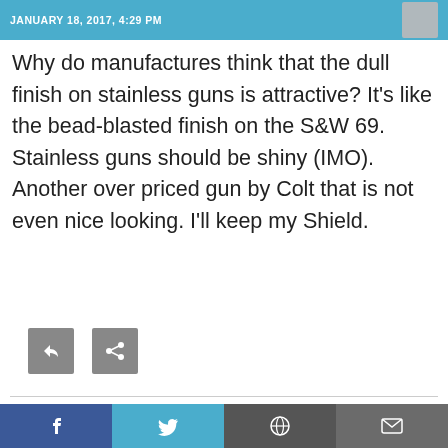JANUARY 18, 2017, 4:29 PM
Why do manufactures think that the dull finish on stainless guns is attractive? It's like the bead-blasted finish on the S&W 69.
Stainless guns should be shiny (IMO). Another over priced gun by Colt that is not even nice looking. I'll keep my Shield.
DMD
JANUARY 18, 2017, 4:05 PM
signing its revolver–why machine the cylinder for